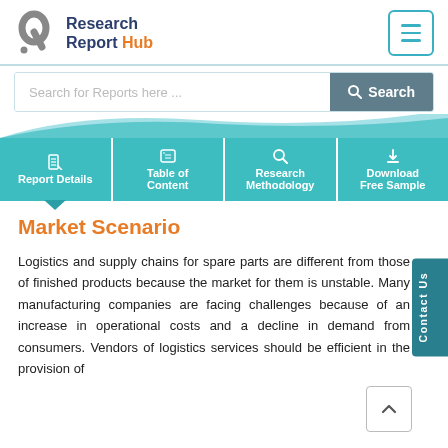[Figure (logo): Research Report Hub logo with grey R icon and navy/orange text]
Search for Reports here ...
[Figure (screenshot): Navigation tabs: Report Details, Table of Content, Research Methodology, Download Free Sample]
Market Scenario
Logistics and supply chains for spare parts are different from those of finished products because the market for them is unstable. Many manufacturing companies are facing challenges because of an increase in operational costs and a decline in demand from consumers. Vendors of logistics services should be efficient in the provision of